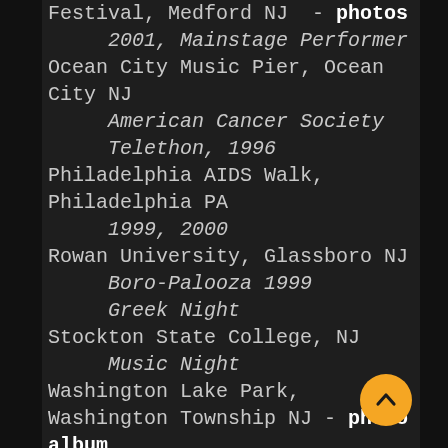Festival, Medford NJ - photos
2001, Mainstage Performer
Ocean City Music Pier, Ocean City NJ
American Cancer Society Telethon, 1996
Philadelphia AIDS Walk, Philadelphia PA
1999, 2000
Rowan University, Glassboro NJ
Boro-Palooza 1999
Greek Night
Stockton State College, NJ
Music Night
Washington Lake Park, Washington Township NJ - photo album